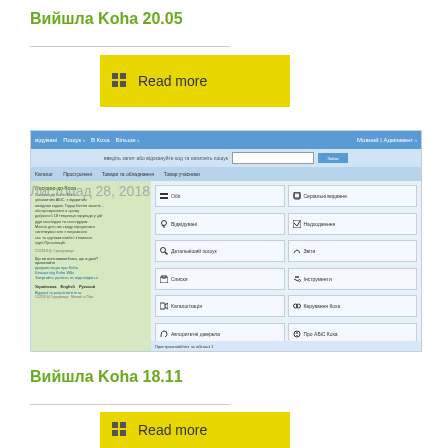Вийшла Koha 20.05
[Figure (screenshot): Screenshot of Koha ILS interface in Ukrainian showing main menu with options: Обіг, Відвідувані, Детальніший пошук, Списки, Каталогізація, Авторитетні джерела, Серіальні видання, Надходження, Звіти, Інструменти, Керування Koha, Про АБіС Koha]
Листопад 28, 2018
Вийшла Koha 18.11